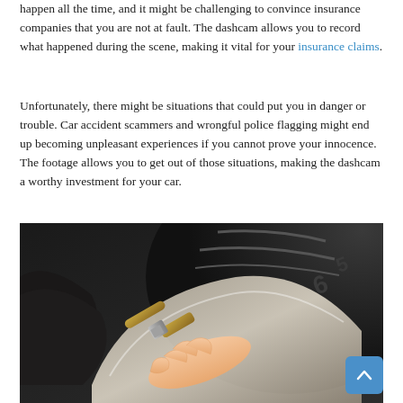happen all the time, and it might be challenging to convince insurance companies that you are not at fault. The dashcam allows you to record what happened during the scene, making it vital for your insurance claims.
Unfortunately, there might be situations that could put you in danger or trouble. Car accident scammers and wrongful police flagging might end up becoming unpleasant experiences if you cannot prove your innocence. The footage allows you to get out of those situations, making the dashcam a worthy investment for your car.
[Figure (photo): Close-up photo of a hand holding a tire pressure gauge connected to a car tire valve stem, with a dark tire and silver alloy wheel rim visible in the background.]